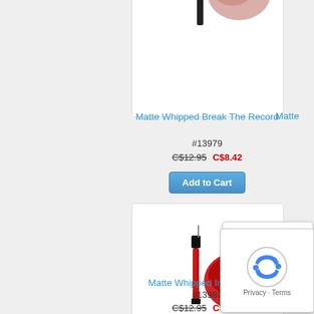[Figure (photo): Partial product card at top showing lip product (lip liner/gloss) with nude/pink swatch, partially cropped]
Matte Whipped Break The Record
#13979
C$12.95  C$8.42
[Figure (other): Add to Cart button for Matte Whipped Break The Record]
[Figure (photo): Product card showing red lip gloss with red swatch for Matte Whipped Intense Lust]
Matte Whipped Intense Lust
#13987
C$12.95  C$8.42
[Figure (other): Add to Cart button for Matte Whipped Intense Lust]
[Figure (other): reCAPTCHA widget overlay in bottom-right corner]
[Figure (photo): Partial product card at bottom, partially cropped]